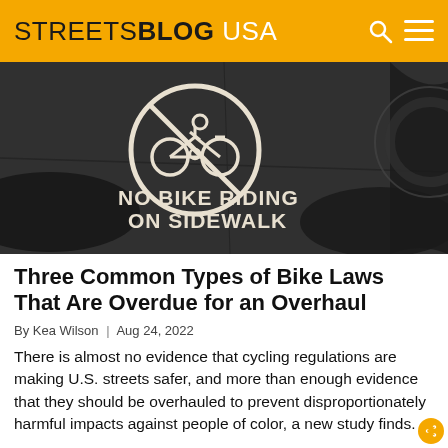STREETSBLOG USA
[Figure (photo): Black and white photo of a sidewalk with a painted bicycle symbol inside a circle with a line through it (no bikes), and text painted on the ground reading 'NO BIKE RIDING ON SIDEWALK'. A bicycle wheel is partially visible on the right edge.]
Three Common Types of Bike Laws That Are Overdue for an Overhaul
By Kea Wilson | Aug 24, 2022
There is almost no evidence that cycling regulations are making U.S. streets safer, and more than enough evidence that they should be overhauled to prevent disproportionately harmful impacts against people of color, a new study finds.